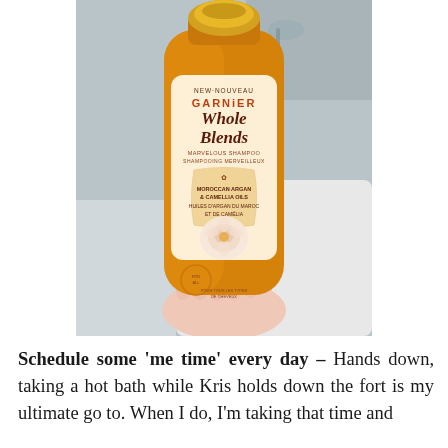[Figure (photo): A hand holding a bottle of Garnier Whole Blends Marvelous Shampoo with Moroccan Argan & Camellia Oils, photographed in a bathroom near a bathtub. The bottle is amber/orange colored with a gold cap.]
Schedule some 'me time' every day – Hands down, taking a hot bath while Kris holds down the fort is my ultimate go to. When I do, I'm taking that time and